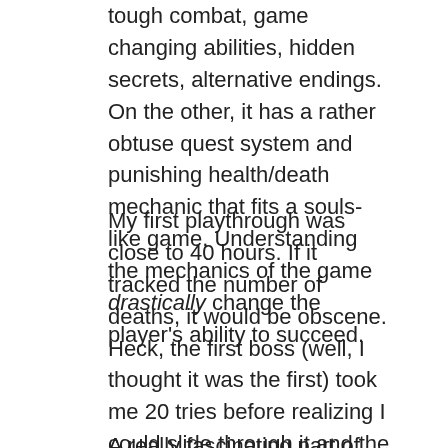tough combat, game changing abilities, hidden secrets, alternative endings. On the other, it has a rather obtuse quest system and punishing health/death mechanic that fits a souls-like game. Understanding the mechanics of the game drastically change the player's ability to succeed.
My first playthrough was close to 40 hours. If it tracked the number of deaths, it would be obscene. Heck, the first boss (well, I thought it was the first) took me 20 tries before realizing I could slide through it and the i-frames that came with. It took me another 20 hours to figure out how the dodge-attack worked properly. It was an eye opening experience of gameplay discovery, as much as it was content discovery.
A really fascinating part of the game is that actual